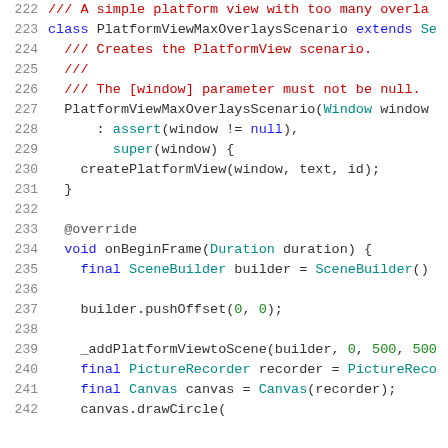222  /// A simple platform view with too many overla
223  class PlatformViewMaxOverlaysScenario extends Se
224    /// Creates the PlatformView scenario.
225    ///
226    /// The [window] parameter must not be null.
227    PlatformViewMaxOverlaysScenario(Window window
228        : assert(window != null),
229          super(window) {
230      createPlatformView(window, text, id);
231    }
232
233    @override
234    void onBeginFrame(Duration duration) {
235      final SceneBuilder builder = SceneBuilder()
236
237      builder.pushOffset(0, 0);
238
239      _addPlatformViewtoScene(builder, 0, 500, 500
240      final PictureRecorder recorder = PictureReco
241      final Canvas canvas = Canvas(recorder);
242      canvas.drawCircle(